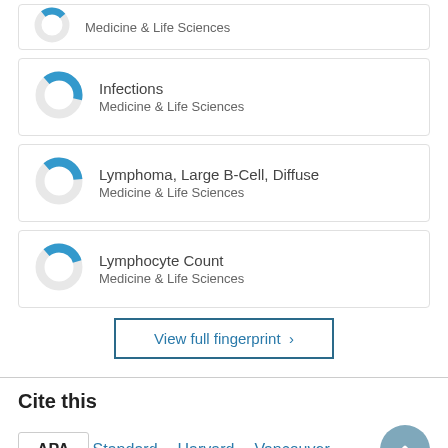[Figure (donut-chart): Partial donut chart card for Medicine & Life Sciences (top, cropped)]
[Figure (donut-chart): Donut chart for Infections, Medicine & Life Sciences]
[Figure (donut-chart): Donut chart for Lymphoma, Large B-Cell, Diffuse, Medicine & Life Sciences]
[Figure (donut-chart): Donut chart for Lymphocyte Count, Medicine & Life Sciences]
View full fingerprint
Cite this
APA Standard Harvard Vancouver ...